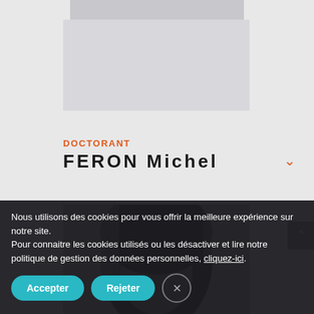[Figure (photo): Partially visible placeholder/banner at the top of the page (grey boxes)]
DOCTORANT
FERON Michel
[Figure (photo): Blurred/partially visible portrait photo of a person with dark hair]
Nous utilisons des cookies pour vous offrir la meilleure expérience sur notre site.
Pour connaitre les cookies utilisés ou les désactiver et lire notre politique de gestion des données personnelles, cliquez-ici.
Accepter
Rejeter